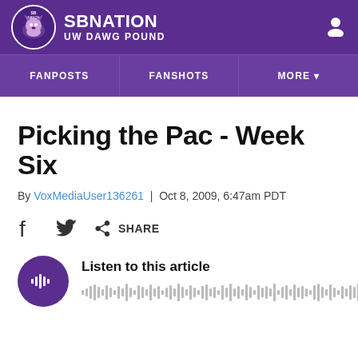SBNATION / UW DAWG POUND
Picking the Pac - Week Six
By VoxMediaUser136261 | Oct 8, 2009, 6:47am PDT
SHARE
Listen to this article